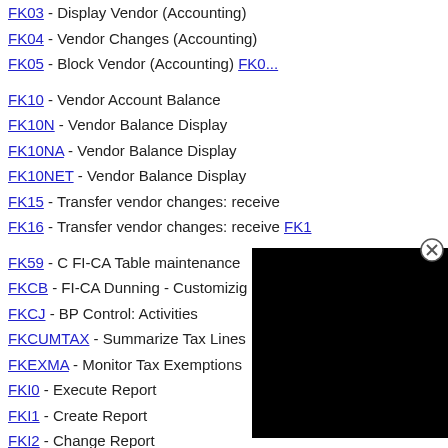FK03 - Display Vendor (Accounting)
FK04 - Vendor Changes (Accounting)
FK05 - Block Vendor (Accounting) FK0...
FK10 - Vendor Account Balance
FK10N - Vendor Balance Display
FK10NA - Vendor Balance Display
FK10NET - Vendor Balance Display
FK15 - Transfer vendor changes: receive
FK16 - Transfer vendor changes: receive FK1
FK59 - C FI-CA Table maintenance
FKCB - FI-CA Dunning - Customizing
FKCJ - BP Control: Activities
FKCUMTAX - Summarize Tax Lines
FKEXMA - Monitor Tax Exemptions
FKI0 - Execute Report
FKI1 - Create Report
FKI2 - Change Report
FKI3 - Display Report